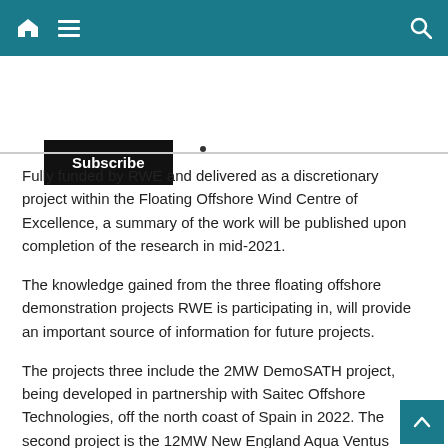Navigation bar with home, menu, and search icons
Subscribe
Fully funded by RWE and delivered as a discretionary project within the Floating Offshore Wind Centre of Excellence, a summary of the work will be published upon completion of the research in mid-2021.
The knowledge gained from the three floating offshore demonstration projects RWE is participating in, will provide an important source of information for future projects.
The projects three include the 2MW DemoSATH project, being developed in partnership with Saitec Offshore Technologies, off the north coast of Spain in 2022. The second project is the 12MW New England Aqua Ventus (NEAV) project, being developed